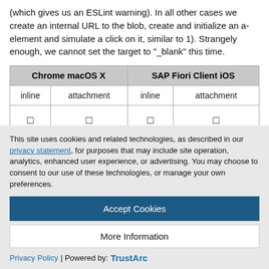(which gives us an ESLint warning). In all other cases we create an internal URL to the blob, create and initialize an a-element and simulate a click on it, similar to 1). Strangely enough, we cannot set the target to "_blank" this time.
| Chrome macOS X |  | SAP Fiori Client iOS |  |
| --- | --- | --- | --- |
| inline | attachment | inline | attachment |
| □ | □ | □ | □ |
This site uses cookies and related technologies, as described in our privacy statement, for purposes that may include site operation, analytics, enhanced user experience, or advertising. You may choose to consent to our use of these technologies, or manage your own preferences.
Accept Cookies
More Information
Privacy Policy | Powered by: TrustArc
states that it only covers Strings. I did not try to put a blob here.